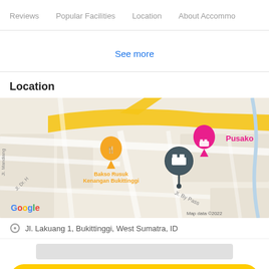Reviews    Popular Facilities    Location    About Accommo
See more
Location
[Figure (map): Google Maps screenshot showing the location pin near Jl. By Pass in Bukittinggi, West Sumatra. Nearby landmarks include Bakso Rusuk Kenangan Bukittinggi (orange restaurant pin) and Pusako (pink hotel pin). The selected location is shown with a dark circular hotel icon. Text reads 'Map data ©2022' and 'Google' logo visible.]
Jl. Lakuang 1, Bukittinggi, West Sumatra, ID
SEE ROOMS